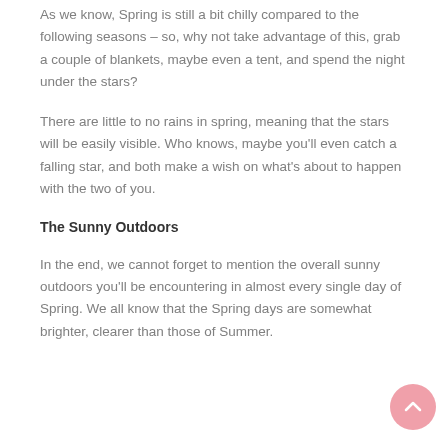As we know, Spring is still a bit chilly compared to the following seasons – so, why not take advantage of this, grab a couple of blankets, maybe even a tent, and spend the night under the stars?
There are little to no rains in spring, meaning that the stars will be easily visible. Who knows, maybe you'll even catch a falling star, and both make a wish on what's about to happen with the two of you.
The Sunny Outdoors
In the end, we cannot forget to mention the overall sunny outdoors you'll be encountering in almost every single day of Spring. We all know that the Spring days are somewhat brighter, clearer than those of Summer.